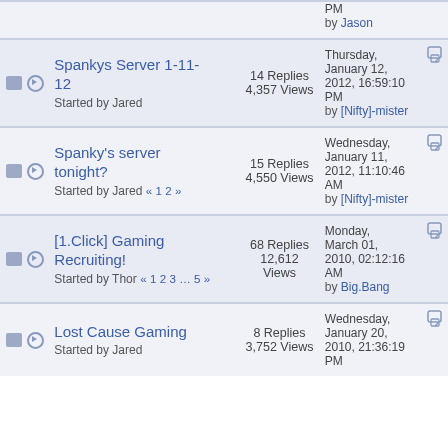PM by Jason
Spankys Server 1-11-12 | Started by Jared | 14 Replies 4,357 Views | Thursday, January 12, 2012, 16:59:10 PM by [Nifty]-mister
Spanky's server tonight? | Started by Jared « 1 2 » | 15 Replies 4,550 Views | Wednesday, January 11, 2012, 11:10:46 AM by [Nifty]-mister
[1.Click] Gaming Recruiting! | Started by Thor « 1 2 3 … 5 » | 68 Replies 12,612 Views | Monday, March 01, 2010, 02:12:16 AM by Big.Bang
Lost Cause Gaming | Started by Jared | 8 Replies 3,752 Views | Wednesday, January 20, 2010, 21:36:19 PM